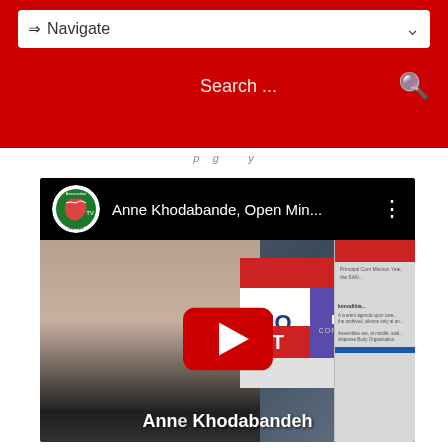⇒ Navigate
Search ...
[Figure (screenshot): YouTube video embed showing Anne Khodabandeh, Open Min... with channel logo (IRANA Association TV) on black top bar, video thumbnail showing a woman with dark hair in front of a NO EXIT / RAND Corporation sign, red YouTube play button overlay, text 'Anne Khodabandeh' at bottom]